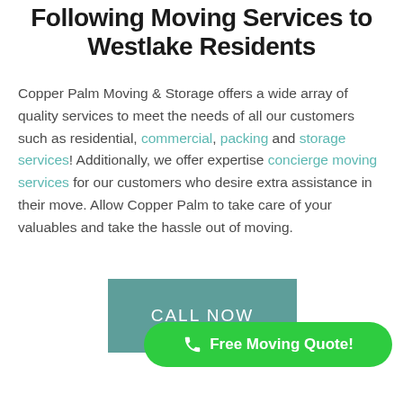Following Moving Services to Westlake Residents
Copper Palm Moving & Storage offers a wide array of quality services to meet the needs of all our customers such as residential, commercial, packing and storage services! Additionally, we offer expertise concierge moving services for our customers who desire extra assistance in their move. Allow Copper Palm to take care of your valuables and take the hassle out of moving.
[Figure (other): Teal rectangular button with text CALL NOW in white uppercase letters]
[Figure (other): Green pill-shaped button with phone icon and text 'Free Moving Quote!' in white]